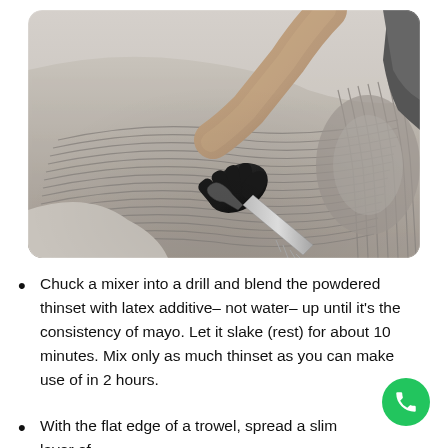[Figure (photo): A person wearing black gloves using a notched trowel to spread gray tile adhesive/thinset mortar on a concrete floor, creating parallel ridged lines. The worker is kneeling and the trowel is being dragged through the adhesive.]
Chuck a mixer into a drill and blend the powdered thinset with latex additive– not water– up until it's the consistency of mayo. Let it slake (rest) for about 10 minutes. Mix only as much thinset as you can make use of in 2 hours.
With the flat edge of a trowel, spread a slim layer of